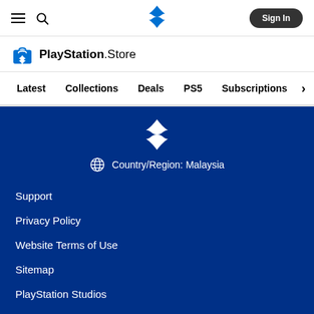PlayStation Store navigation header with hamburger menu, search icon, PlayStation logo, and Sign In button
[Figure (logo): PlayStation Store logo with shopping bag icon and PlayStation.Store text]
Latest   Collections   Deals   PS5   Subscriptions >
[Figure (logo): PlayStation logo (white) in blue footer]
Country/Region: Malaysia
Support
Privacy Policy
Website Terms of Use
Sitemap
PlayStation Studios